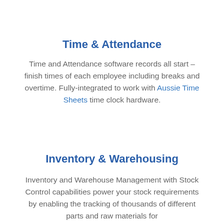Time & Attendance
Time and Attendance software records all start – finish times of each employee including breaks and overtime. Fully-integrated to work with Aussie Time Sheets time clock hardware.
Inventory & Warehousing
Inventory and Warehouse Management with Stock Control capabilities power your stock requirements by enabling the tracking of thousands of different parts and raw materials for